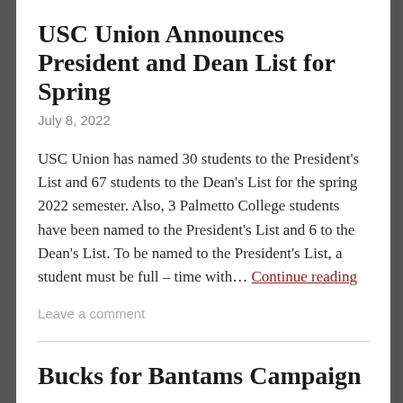USC Union Announces President and Dean List for Spring
July 8, 2022
USC Union has named 30 students to the President's List and 67 students to the Dean's List for the spring 2022 semester. Also, 3 Palmetto College students have been named to the President's List and 6 to the Dean's List. To be named to the President's List, a student must be full – time with… Continue reading
Leave a comment
Bucks for Bantams Campaign